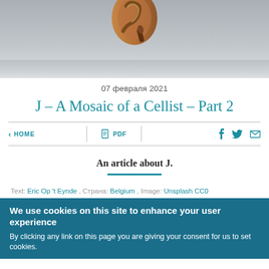[Figure (photo): Close-up photo of the scroll of a cello or violin against a grey background]
07 февраля 2021
J – A Mosaic of a Cellist – Part 2
< HOME   PDF   [facebook] [twitter] [email]
An article about J.
Text: Eric Op 't Eynde , Страна: Belgium , Image: Unsplash CC0
We use cookies on this site to enhance your user experience
By clicking any link on this page you are giving your consent for us to set cookies.